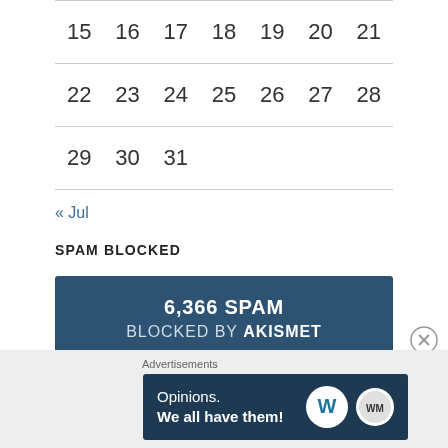| 15 | 16 | 17 | 18 | 19 | 20 | 21 |
| 22 | 23 | 24 | 25 | 26 | 27 | 28 |
| 29 | 30 | 31 |  |  |  |  |
« Jul
SPAM BLOCKED
6,366 SPAM BLOCKED BY AKISMET
Advertisements
[Figure (illustration): WordPress advertisement banner: 'Opinions. We all have them!' with WordPress and WordMark logos]